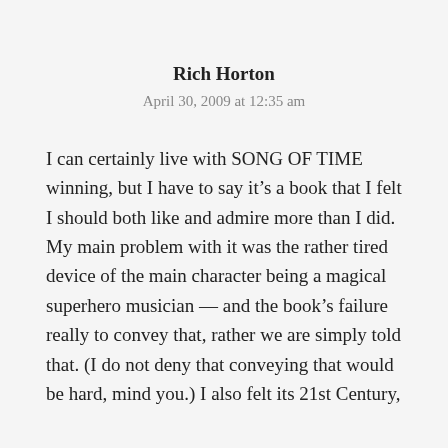Rich Horton
April 30, 2009 at 12:35 am
I can certainly live with SONG OF TIME winning, but I have to say it’s a book that I felt I should both like and admire more than I did. My main problem with it was the rather tired device of the main character being a magical superhero musician — and the book’s failure really to convey that, rather we are simply told that. (I do not deny that conveying that would be hard, mind you.) I also felt its 21st Century,